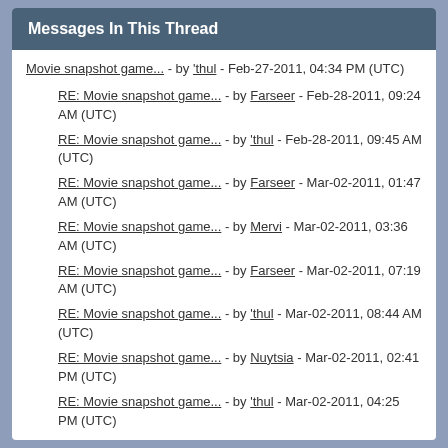Messages In This Thread
Movie snapshot game... - by 'thul - Feb-27-2011, 04:34 PM (UTC)
RE: Movie snapshot game... - by Farseer - Feb-28-2011, 09:24 AM (UTC)
RE: Movie snapshot game... - by 'thul - Feb-28-2011, 09:45 AM (UTC)
RE: Movie snapshot game... - by Farseer - Mar-02-2011, 01:47 AM (UTC)
RE: Movie snapshot game... - by Mervi - Mar-02-2011, 03:36 AM (UTC)
RE: Movie snapshot game... - by Farseer - Mar-02-2011, 07:19 AM (UTC)
RE: Movie snapshot game... - by 'thul - Mar-02-2011, 08:44 AM (UTC)
RE: Movie snapshot game... - by Nuytsia - Mar-02-2011, 02:41 PM (UTC)
RE: Movie snapshot game... - by 'thul - Mar-02-2011, 04:25 PM (UTC)
RE: Movie snapshot game... - by Farseer - Mar-03-2011, 03:58 AM (UTC)